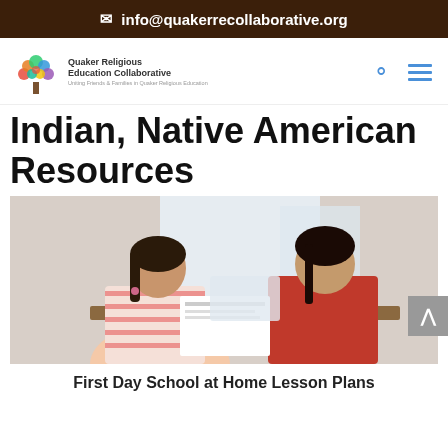✉ info@quakerrecollaborative.org
[Figure (logo): Quaker Religious Education Collaborative logo with colorful tree and text]
Indian, Native American Resources
[Figure (photo): Two children sitting at a desk, viewed from behind, working on lesson materials. One wears a striped shirt, the other a red top.]
First Day School at Home Lesson Plans